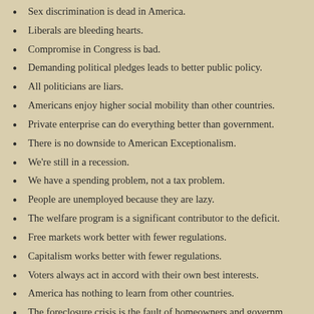Sex discrimination is dead in America.
Liberals are bleeding hearts.
Compromise in Congress is bad.
Demanding political pledges leads to better public policy.
All politicians are liars.
Americans enjoy higher social mobility than other countries.
Private enterprise can do everything better than government.
There is no downside to American Exceptionalism.
We're still in a recession.
We have a spending problem, not a tax problem.
People are unemployed because they are lazy.
The welfare program is a significant contributor to the deficit.
Free markets work better with fewer regulations.
Capitalism works better with fewer regulations.
Voters always act in accord with their own best interests.
America has nothing to learn from other countries.
The foreclosure crisis is the fault of homeowners and governm
Many scientists engage in long-lasting conspiracies and produ
Labor unions are bad for the economy.
Raising the minimum wage results in job losses.